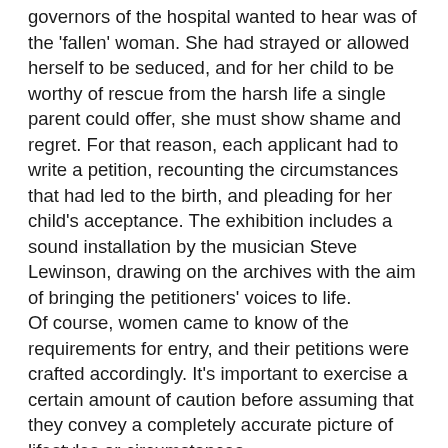governors of the hospital wanted to hear was of the 'fallen' woman. She had strayed or allowed herself to be seduced, and for her child to be worthy of rescue from the harsh life a single parent could offer, she must show shame and regret. For that reason, each applicant had to write a petition, recounting the circumstances that had led to the birth, and pleading for her child's acceptance. The exhibition includes a sound installation by the musician Steve Lewinson, drawing on the archives with the aim of bringing the petitioners' voices to life.
Of course, women came to know of the requirements for entry, and their petitions were crafted accordingly. It's important to exercise a certain amount of caution before assuming that they convey a completely accurate picture of lifestyles or circumstances.
 To be successful in finding care for her child, a woman had to show that this was her first 'mistake' (an assertion that might be supported by anatomical evidence from a midwife). She had to construct a narrative that suggested she had been led astray, and possibly that her very innocence had made her vulnerable to manipulation.
All this was put to the test at an interview. It was a process